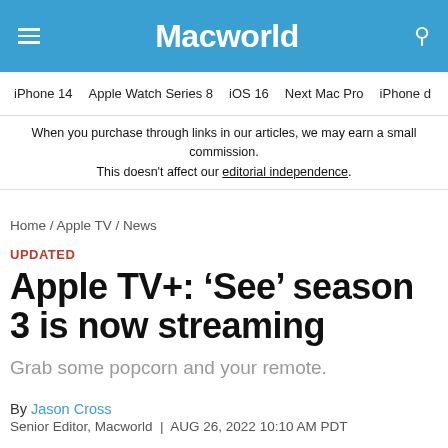Macworld
iPhone 14  Apple Watch Series 8  iOS 16  Next Mac Pro  iPhone d
When you purchase through links in our articles, we may earn a small commission. This doesn't affect our editorial independence.
Home / Apple TV / News
UPDATED
Apple TV+: ‘See’ season 3 is now streaming
Grab some popcorn and your remote.
By Jason Cross
Senior Editor, Macworld  |  AUG 26, 2022 10:10 AM PDT